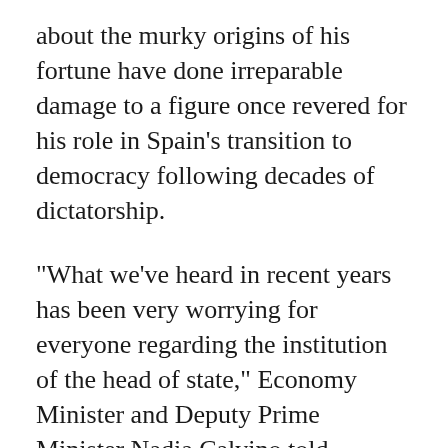about the murky origins of his fortune have done irreparable damage to a figure once revered for his role in Spain's transition to democracy following decades of dictatorship.
“What we’ve heard in recent years has been very worrying for everyone regarding the institution of the head of state,” Economy Minister and Deputy Prime Minister Nadia Calvino told Cadena Ser radio.
“There’s no doubt we need some explanations.”
The 84-year-old former monarch arrived on Thursday evening by private jet in Vigo in northwestern Spain ahead of a three-day